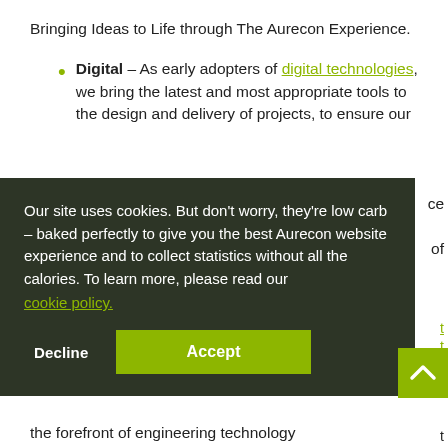Bringing Ideas to Life through The Aurecon Experience.
Digital – As early adopters of digital technologies, we bring the latest and most appropriate tools to the design and delivery of projects, to ensure our
Our site uses cookies. But don't worry, they're low carb – baked perfectly to give you the best Aurecon website experience and to collect statistics without all the calories. To learn more, please read our cookie policy.
the forefront of engineering technology